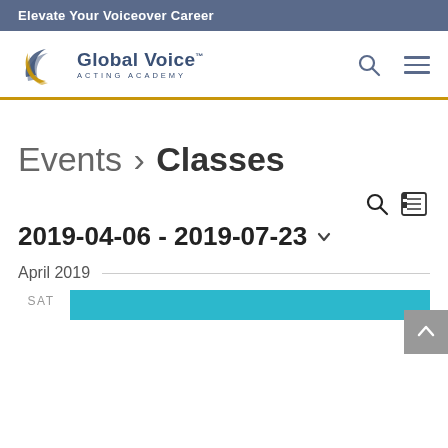Elevate Your Voiceover Career
[Figure (logo): Global Voice Acting Academy logo with swoosh icon]
Events › Classes
2019-04-06 - 2019-07-23
April 2019
SAT